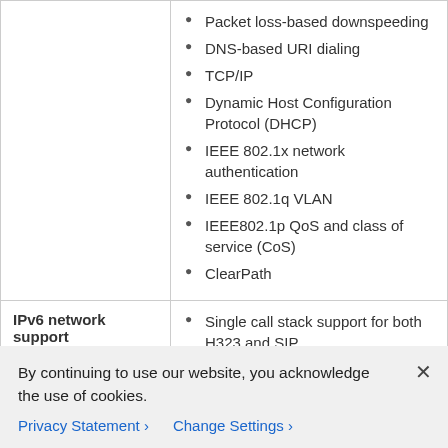|  | Packet loss-based downspeeding
DNS-based URI dialing
TCP/IP
Dynamic Host Configuration Protocol (DHCP)
IEEE 802.1x network authentication
IEEE 802.1q VLAN
IEEE802.1p QoS and class of service (CoS)
ClearPath |
| IPv6 network support | Single call stack support for both H323 and SIP
Dual-stack IPv4 and IPv6 for DHCP, SSH, HTTP, HTTPS, DNS, and DiffServ
Support for both static and autoconfiguration (stateless... |
By continuing to use our website, you acknowledge the use of cookies.
Privacy Statement > Change Settings >